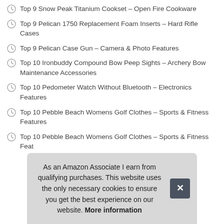Top 9 Snow Peak Titanium Cookset – Open Fire Cookware
Top 9 Pelican 1750 Replacement Foam Inserts – Hard Rifle Cases
Top 9 Pelican Case Gun – Camera & Photo Features
Top 10 Ironbuddy Compound Bow Peep Sights – Archery Bow Maintenance Accessories
Top 10 Pedometer Watch Without Bluetooth – Electronics Features
Top 10 Pebble Beach Womens Golf Clothes – Sports & Fitness Features
Top 10 Pebble Beach Womens Golf Clothes – Sports & Fitness Features
As an Amazon Associate I earn from qualifying purchases. This website uses the only necessary cookies to ensure you get the best experience on our website. More information